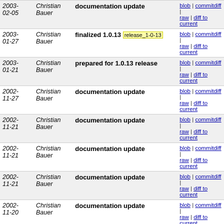| Date | Author | Message | Links |
| --- | --- | --- | --- |
| 2003-02-05 | Christian Bauer | documentation update | blob | commitdiff | raw | diff to current |
| 2003-01-27 | Christian Bauer | finalized 1.0.13  release_1-0-13 | blob | commitdiff | raw | diff to current |
| 2003-01-21 | Christian Bauer | prepared for 1.0.13 release | blob | commitdiff | raw | diff to current |
| 2002-11-27 | Christian Bauer | documentation update | blob | commitdiff | raw | diff to current |
| 2002-11-21 | Christian Bauer | documentation update | blob | commitdiff | raw | diff to current |
| 2002-11-21 | Christian Bauer | documentation update | blob | commitdiff | raw | diff to current |
| 2002-11-21 | Christian Bauer | documentation update | blob | commitdiff | raw | diff to current |
| 2002-11-20 | Christian Bauer | documentation update | blob | commitdiff | raw | diff to current |
| 2002-11-10 | Christian Bauer | documentation update | blob | commitdiff | raw | diff to current |
| 2002-11-06 | Christian Bauer | documentation update | blob | commitdiff | raw | diff to current |
| 2002-11-05 | Christian Bauer | fixed a typo | blob | commitdiff | raw | diff to current |
| 2002-10-30 | Christian Bauer | finalize release 1.0.12  release_1-0-12 | blob | commitdiff | raw | diff to current |
| 2002-10-29 | Christian Bauer | documentation update | blob | commitdiff | raw | diff to current |